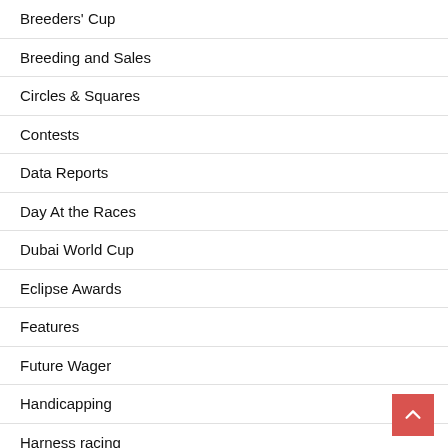Breeders' Cup
Breeding and Sales
Circles & Squares
Contests
Data Reports
Day At the Races
Dubai World Cup
Eclipse Awards
Features
Future Wager
Handicapping
Harness racing
Horseplayer Confessions